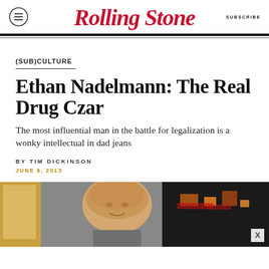Rolling Stone — SUBSCRIBE
(SUB)CULTURE
Ethan Nadelmann: The Real Drug Czar
The most influential man in the battle for legalization is a wonky intellectual in dad jeans
BY TIM DICKINSON
JUNE 6, 2013
[Figure (photo): Photo of Ethan Nadelmann, a bald man, shown from the shoulders up against an urban background with city lights and signage visible.]